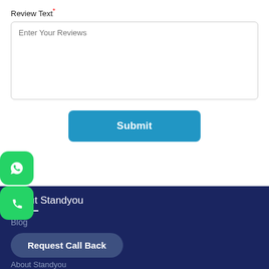Review Text*
[Figure (screenshot): Text area input with placeholder text 'Enter Your Reviews']
[Figure (screenshot): Submit button in blue with white bold text 'Submit']
[Figure (logo): WhatsApp floating icon - green rounded square with WhatsApp logo]
[Figure (logo): Phone floating icon - green rounded square with phone icon]
About Standyou
Blog
[Figure (screenshot): Request Call Back button - dark blue rounded pill button]
About Standyou